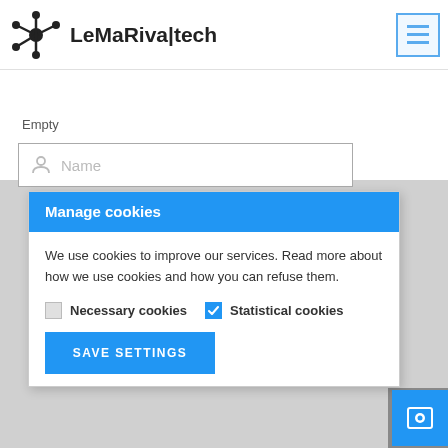[Figure (logo): LeMaRiva|tech logo with hub-and-spoke icon and menu button in top-right corner]
Empty
[Figure (screenshot): Name input field with user icon and placeholder text 'Name']
Manage cookies
We use cookies to improve our services. Read more about how we use cookies and how you can refuse them.
Necessary cookies  Statistical cookies
SAVE SETTINGS